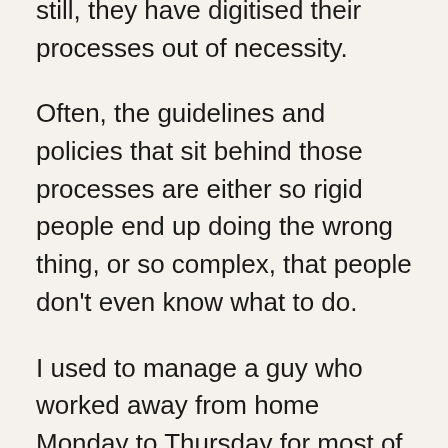still, they have digitised their processes out of necessity.
Often, the guidelines and policies that sit behind those processes are either so rigid people end up doing the wrong thing, or so complex, that people don't even know what to do.
I used to manage a guy who worked away from home Monday to Thursday for most of the year.  So that he didn't spend every evening on his own in a hotel room, he preferred to use Airbnb, but the company policy at the time only allowed for overnight stays in hotels that had to be booked via the corporate travel system….which usually cost more than his AirBNB.  This was the wrong answer for everyone involved.  It took a lot of effort to get that policy changed.  Therefore, it is worth